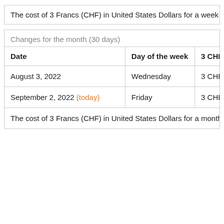The cost of 3 Francs (CHF) in United States Dollars for a week (7 d...
| Date | Day of the week | 3 CHF |
| --- | --- | --- |
| August 3, 2022 | Wednesday | 3 CHF |
| September 2, 2022 (today) | Friday | 3 CHF |